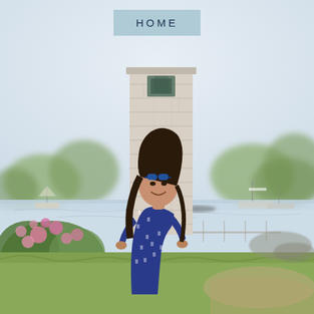[Figure (photo): A smiling young woman with long dark hair and blue sunglasses on her head stands in front of a historic stone lighthouse tower. She is wearing a navy blue dress with a white sailboat print. Behind her is a harbor with sailboats moored on the water, green trees, and pink flowering bushes to the left. The scene is a sunny coastal New England setting.]
HOME